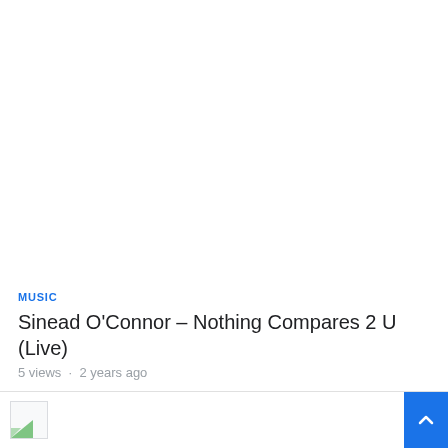MUSIC
Sinead O'Connor – Nothing Compares 2 U (Live)
5 views · 2 years ago
[Figure (screenshot): Footer bar with broken image placeholder on the left and a blue scroll-to-top button with upward chevron on the right]